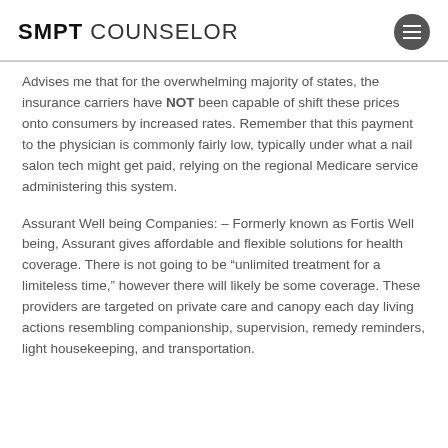SMPT COUNSELOR
Advises me that for the overwhelming majority of states, the insurance carriers have NOT been capable of shift these prices onto consumers by increased rates. Remember that this payment to the physician is commonly fairly low, typically under what a nail salon tech might get paid, relying on the regional Medicare service administering this system.
Assurant Well being Companies: – Formerly known as Fortis Well being, Assurant gives affordable and flexible solutions for health coverage. There is not going to be “unlimited treatment for a limiteless time,” however there will likely be some coverage. These providers are targeted on private care and canopy each day living actions resembling companionship, supervision, remedy reminders, light housekeeping, and transportation.